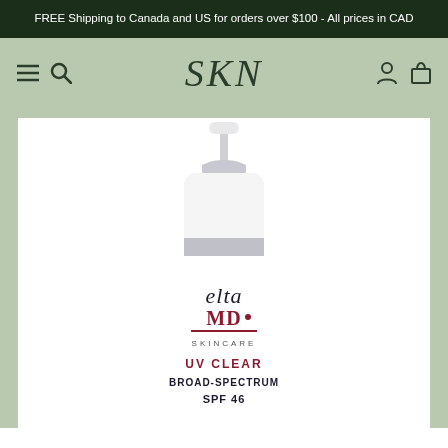FREE Shipping to Canada and US for orders over $100 - All prices in CAD
[Figure (logo): SKN skincare store logo and navigation bar with menu, search, account, and cart icons]
[Figure (photo): EltaMD UV Clear Broad-Spectrum SPF 46 sunscreen product in a white pump bottle]